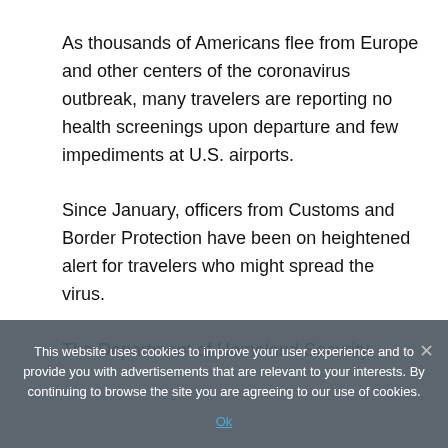As thousands of Americans flee from Europe and other centers of the coronavirus outbreak, many travelers are reporting no health screenings upon departure and few impediments at U.S. airports.
Since January, officers from Customs and Border Protection have been on heightened alert for travelers who might spread the virus. The Department of Homeland Security...
This website uses cookies to improve your user experience and to provide you with advertisements that are relevant to your interests. By continuing to browse the site you are agreeing to our use of cookies.